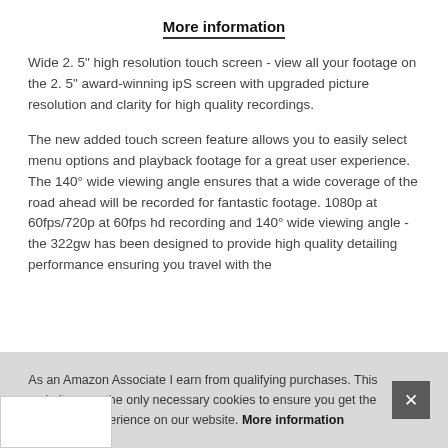More information
Wide 2. 5" high resolution touch screen - view all your footage on the 2. 5" award-winning ipS screen with upgraded picture resolution and clarity for high quality recordings.
The new added touch screen feature allows you to easily select menu options and playback footage for a great user experience. The 140° wide viewing angle ensures that a wide coverage of the road ahead will be recorded for fantastic footage. 1080p at 60fps/720p at 60fps hd recording and 140° wide viewing angle - the 322gw has been designed to provide high quality detailing performance ensuring you travel with the
As an Amazon Associate I earn from qualifying purchases. This website uses the only necessary cookies to ensure you get the best experience on our website. More information